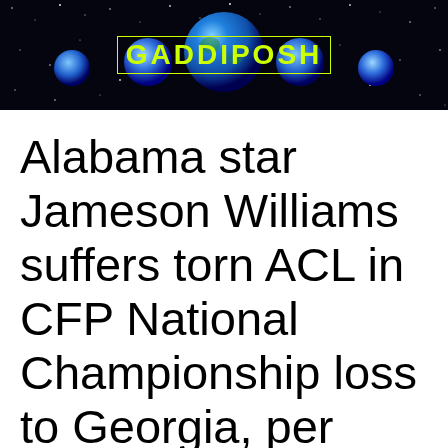[Figure (logo): GADDIPOSH website header banner with space/stars background, blue planet Earth in center, blue orbs on sides, and green text logo reading GADDIPOSH]
Alabama star Jameson Williams suffers torn ACL in CFP National Championship loss to Georgia, per report